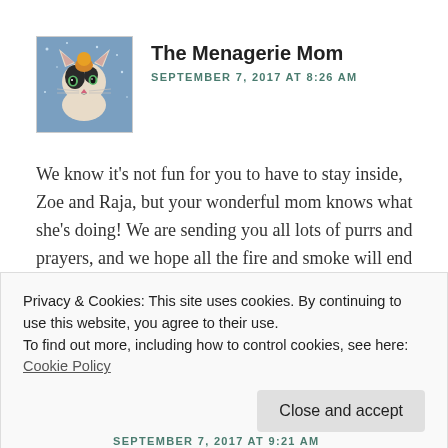[Figure (photo): Avatar image of a cartoon cat illustration on a blue background]
The Menagerie Mom
SEPTEMBER 7, 2017 AT 8:26 AM
We know it's not fun for you to have to stay inside, Zoe and Raja, but your wonderful mom knows what she's doing! We are sending you all lots of purrs and prayers, and we hope all the fire and smoke will end soon.
Privacy & Cookies: This site uses cookies. By continuing to use this website, you agree to their use.
To find out more, including how to control cookies, see here: Cookie Policy
SEPTEMBER 7, 2017 AT 9:21 AM